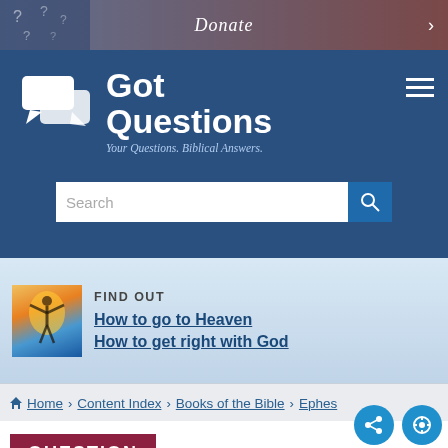Donate
[Figure (logo): GotQuestions logo with speech bubble icons and text 'Got Questions - Your Questions. Biblical Answers.']
Search
[Figure (infographic): Find out section with image of person with arms raised at sunset, links: How to go to Heaven, How to get right with God]
FIND OUT
How to go to Heaven
How to get right with God
Home > Content Index > Books of the Bible > Ephes
QUESTION